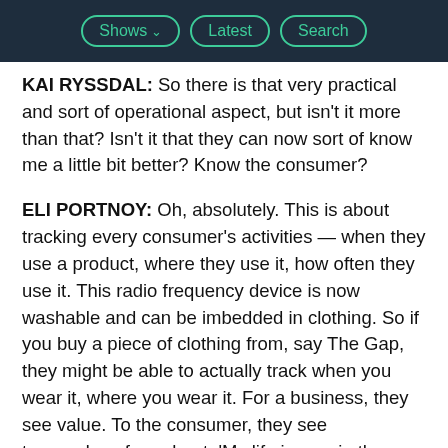Shows | Latest | Search
KAI RYSSDAL: So there is that very practical and sort of operational aspect, but isn't it more than that? Isn't it that they can now sort of know me a little bit better? Know the consumer?
ELI PORTNOY: Oh, absolutely. This is about tracking every consumer's activities — when they use a product, where they use it, how often they use it. This radio frequency device is now washable and can be imbedded in clothing. So if you buy a piece of clothing from, say The Gap, they might be able to actually track when you wear it, where you wear it. For a business, they see value. To the consumer, they see tremendous fear about, 'My life is now in the hands of third parties.'